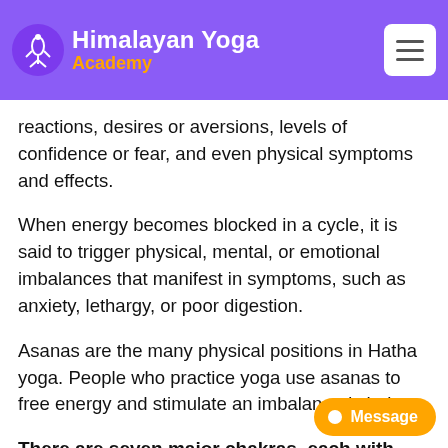Himalayan Yoga Academy
energy, thoughts, feelings, and the physical body. According to yoga teachers, chakras determine the way people experience reality through emotional reactions, desires or aversions, levels of confidence or fear, and even physical symptoms and effects.
When energy becomes blocked in a cycle, it is said to trigger physical, mental, or emotional imbalances that manifest in symptoms, such as anxiety, lethargy, or poor digestion.
Asanas are the many physical positions in Hatha yoga. People who practice yoga use asanas to free energy and stimulate an imbalanced chakra.
There are seven major chakras, each with their own focus:
Muladhara: The “root support” or “root chakra” is located at the base of the spine in the coccygeal region. It is